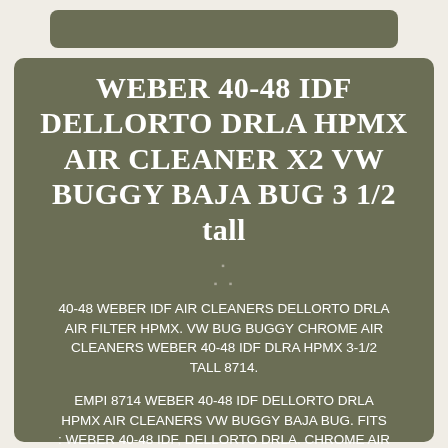[Figure (other): Dark olive/khaki colored top bar banner]
WEBER 40-48 IDF DELLORTO DRLA HPMX AIR CLEANER X2 VW BUGGY BAJA BUG 3 1/2 tall
40-48 WEBER IDF AIR CLEANERS DELLORTO DRLA AIR FILTER HPMX. VW BUG BUGGY CHROME AIR CLEANERS WEBER 40-48 IDF DLRA HPMX 3-1/2 TALL 8714.
EMPI 8714 WEBER 40-48 IDF DELLORTO DRLA HPMX AIR CLEANERS VW BUGGY BAJA BUG. FITS : WEBER 40-48 IDF, DELLORTO DRLA. CHROME AIR CLEANER X 2. Featuring Quality heavy duty Chrome-